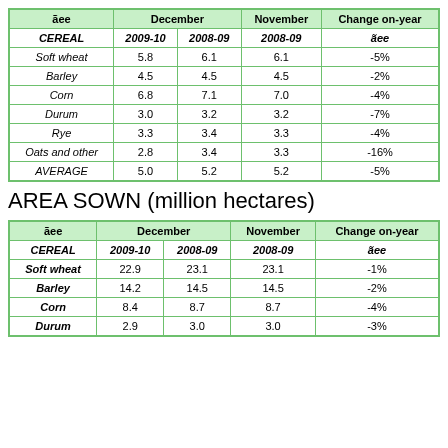| ãee | December 2009-10 | December 2008-09 | November 2008-09 | Change on-year |
| --- | --- | --- | --- | --- |
| CEREAL | 2009-10 | 2008-09 | 2008-09 | ãee |
| Soft wheat | 5.8 | 6.1 | 6.1 | -5% |
| Barley | 4.5 | 4.5 | 4.5 | -2% |
| Corn | 6.8 | 7.1 | 7.0 | -4% |
| Durum | 3.0 | 3.2 | 3.2 | -7% |
| Rye | 3.3 | 3.4 | 3.3 | -4% |
| Oats and other | 2.8 | 3.4 | 3.3 | -16% |
| AVERAGE | 5.0 | 5.2 | 5.2 | -5% |
AREA SOWN (million hectares)
| ãee | December 2009-10 | December 2008-09 | November 2008-09 | Change on-year |
| --- | --- | --- | --- | --- |
| CEREAL | 2009-10 | 2008-09 | 2008-09 | ãee |
| Soft wheat | 22.9 | 23.1 | 23.1 | -1% |
| Barley | 14.2 | 14.5 | 14.5 | -2% |
| Corn | 8.4 | 8.7 | 8.7 | -4% |
| Durum | 2.9 | 3.0 | 3.0 | -3% |